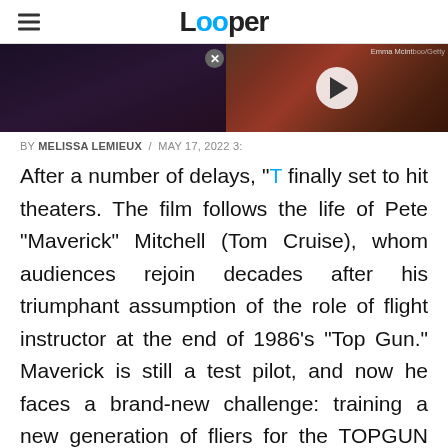Looper
[Figure (screenshot): Hero image with dark background showing partial movie scene on the left and a video overlay thumbnail on the right showing a close-up creature/animal image with a play button, and a close button]
BY MELISSA LEMIEUX / MAY 17, 2022 3:
After a number of delays, "[Top Gun: Maverick]" is finally set to hit theaters. The film follows the life of Pete "Maverick" Mitchell (Tom Cruise), whom audiences rejoin decades after his triumphant assumption of the role of flight instructor at the end of 1986's "Top Gun." Maverick is still a test pilot, and now he faces a brand-new challenge: training a new generation of fliers for the TOPGUN program. Among the new recruits is the son of his late and